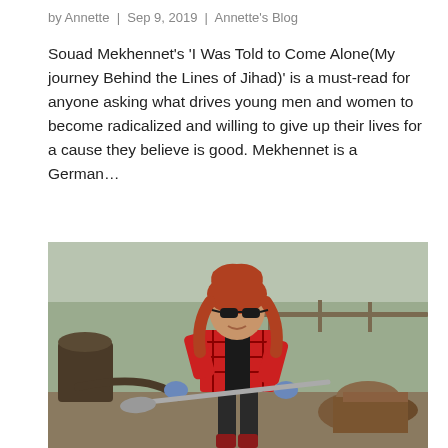by Annette | Sep 9, 2019 | Annette's Blog
Souad Mekhennet's 'I Was Told to Come Alone(My journey Behind the Lines of Jihad)' is a must-read for anyone asking what drives young men and women to become radicalized and willing to give up their lives for a cause they believe is good. Mekhennet is a German...
[Figure (photo): A woman with curly red hair wearing sunglasses, a red and black plaid shirt, black pants and red boots, standing outdoors in a yard holding a metal hose or rod, with cut logs stacked on the right side and bare trees in the background.]